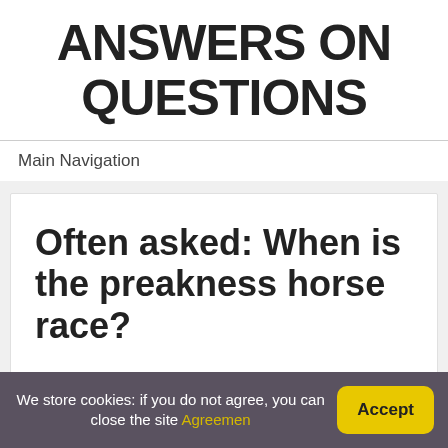ANSWERS ON QUESTIONS
Main Navigation
Often asked: When is the preakness horse race?
We store cookies: if you do not agree, you can close the site Agreemen